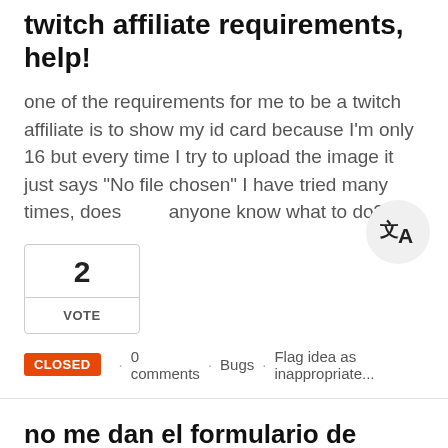twitch affiliate requirements, help!
one of the requirements for me to be a twitch affiliate is to show my id card because I'm only 16 but every time I try to upload the image it just says "No file chosen" I have tried many times, does anyone know what to do?
2
VOTE
CLOSED · 0 comments · Bugs · Flag idea as inappropriate...
no me dan el formulario de afiliado
ya he contactado con twitch, he mandado 3 tickets y aun no obtengo respuesta...llevo 72 horas con el afiliado pero aun no he recibido el formulario! que alguien me diga que puedo hacer o cuales el